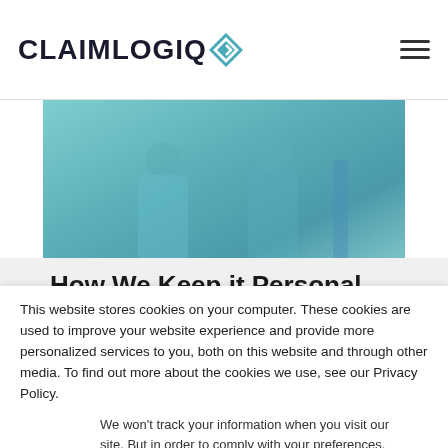[Figure (logo): ClaimLogiq logo with teal diamond/arrow icon and bold dark text]
[Figure (photo): Hero image of healthcare professionals in lab coats, teal-tinted]
How We Keep it Personal
At ClaimLogiq, we are a technology and software company
This website stores cookies on your computer. These cookies are used to improve your website experience and provide more personalized services to you, both on this website and through other media. To find out more about the cookies we use, see our Privacy Policy.
We won't track your information when you visit our site. But in order to comply with your preferences, we'll have to use just one tiny cookie so that you're not asked to make this choice again.